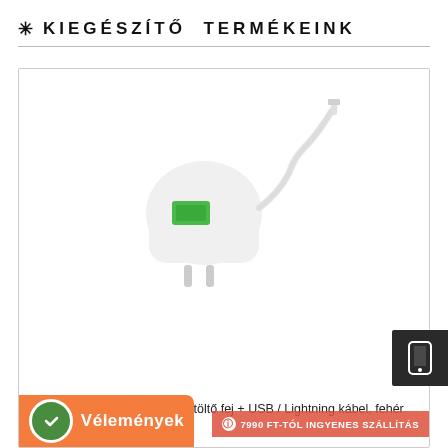❄ KIEGÉSZÍTŐ TERMÉKEINK
[Figure (photo): White USB wall charger (XO L86) with a green USB port and a Lightning cable attached, shown on white background]
XO L86 – USB hálózati gyorstöltő fej + USB / Lightning kábel, fehér 18W
Vélemények
7990 FT-TÓL INGYENES SZÁLLÍTÁS